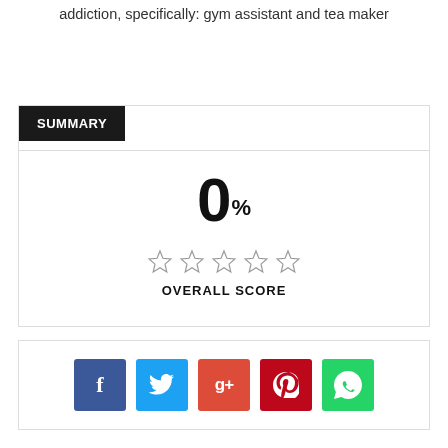addiction, specifically: gym assistant and tea maker
REVIEW OVERVIEW
SUMMARY
[Figure (infographic): Score display showing 0% with 5 empty stars and OVERALL SCORE label]
[Figure (infographic): Social media share buttons: Facebook, Twitter, Google+, Pinterest, WhatsApp]